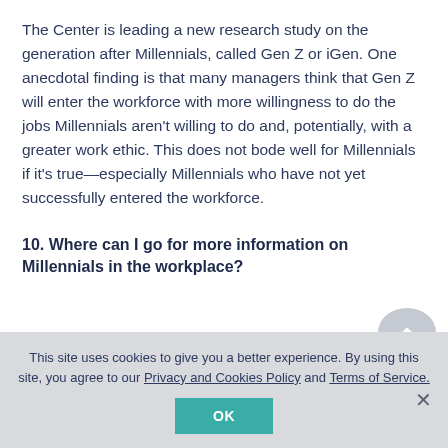The Center is leading a new research study on the generation after Millennials, called Gen Z or iGen. One anecdotal finding is that many managers think that Gen Z will enter the workforce with more willingness to do the jobs Millennials aren't willing to do and, potentially, with a greater work ethic. This does not bode well for Millennials if it's true—especially Millennials who have not yet successfully entered the workforce.
10. Where can I go for more information on Millennials in the workplace?
This site uses cookies to give you a better experience. By using this site, you agree to our Privacy and Cookies Policy and Terms of Service.